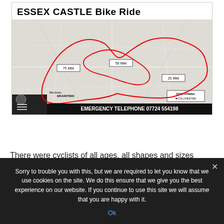ESSEX CASTLE Bike Ride
[Figure (map): A road map of Essex showing three cycling routes: 75 Mile, 50 Mile, and 25 Mile routes marked with red route lines. Includes a legend and emergency telephone number 07724 554198. Start/finish near Colchester.]
There were cyclists of all ages, all shapes and sizes
Sorry to trouble you with this, but we are required to let you know that we use cookies on the site. We do this ensure that we give you the best experience on our website. If you continue to use this site we will assume that you are happy with it.
Ok